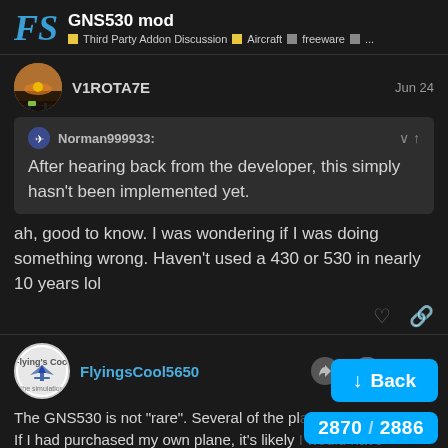GNS530 mod — Third Party Addon Discussion · Aircraft · freeware · ...
V1ROTA7E — Jun 24
Norman999933: After hearing back from the developer, this simply hasn't been implemented yet.
ah, good to know. I was wondering if I was doing something wrong. Haven't used a 430 or 530 in nearly 10 years lol
FlyingsCool5650 — Jun 24
The GNS530 is not "rare". Several of the p... If I had purchased my own plane, it's likely... installed one in it if it needed a GPS. Seve...